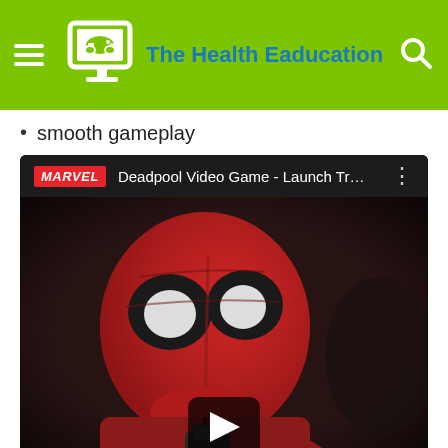The Health Eaducation
smooth gameplay
[Figure (screenshot): YouTube-style embedded video player showing 'Deadpool Video Game - Launch Tr...' with Marvel badge, and thumbnail of Deadpool character with a play button overlay]